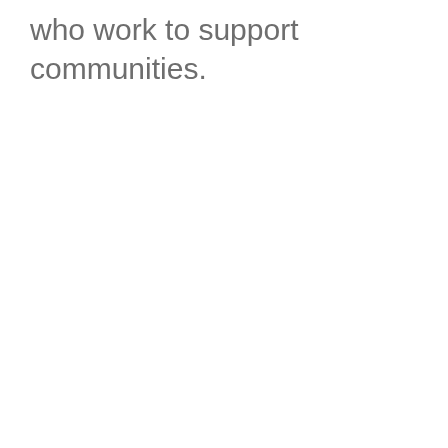who work to support communities.